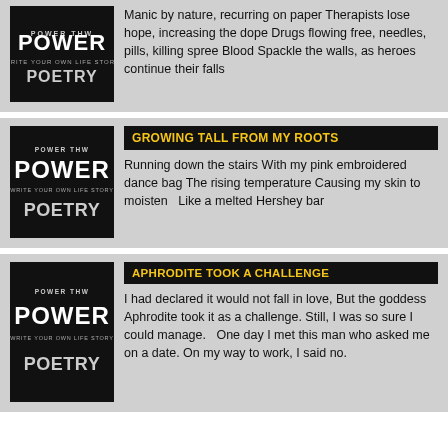Manic by nature, recurring on paper Therapists lose hope, increasing the dope Drugs flowing free, needles, pills, killing spree Blood Spackle the walls, as heroes continue their falls
[Figure (logo): Power Poetry logo - black background with POWER in large white letters and POETRY below, text reads WRITE YOUR OWN LIFE STORY]
GROWING TALL FROM MY ROOTS
Running down the stairs With my pink embroidered dance bag The rising temperature Causing my skin to moisten  Like a melted Hershey bar
[Figure (logo): Power Poetry logo - black background with POWER in large white letters and POETRY below, text reads WRITE YOUR OWN LIFE STORY]
APHRODITE TOOK A CHALLENGE
I had declared it would not fall in love, But the goddess Aphrodite took it as a challenge. Still, I was so sure I could manage.   One day I met this man who asked me on a date. On my way to work, I said no.